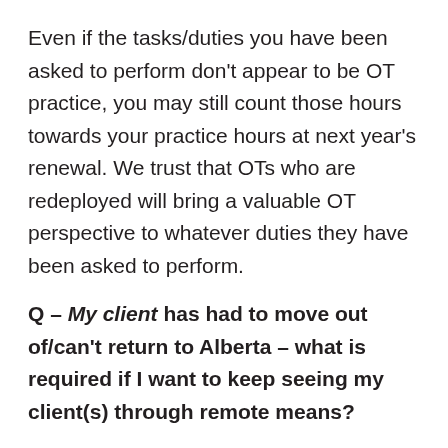Even if the tasks/duties you have been asked to perform don't appear to be OT practice, you may still count those hours towards your practice hours at next year's renewal. We trust that OTs who are redeployed will bring a valuable OT perspective to whatever duties they have been asked to perform.
Q – My client has had to move out of/can't return to Alberta – what is required if I want to keep seeing my client(s) through remote means?